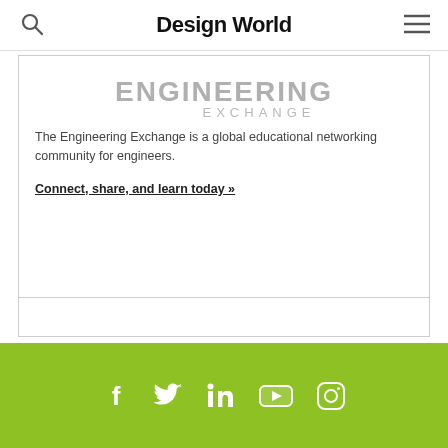Design World
[Figure (logo): Engineering Exchange logo — large bold gray text ENGINEERING with EXCHANGE below in lighter weight]
The Engineering Exchange is a global educational networking community for engineers.
Connect, share, and learn today »
[Figure (other): Empty bordered box (advertisement placeholder)]
Social media icons: Facebook, Twitter, LinkedIn, YouTube, Instagram on olive/green bar